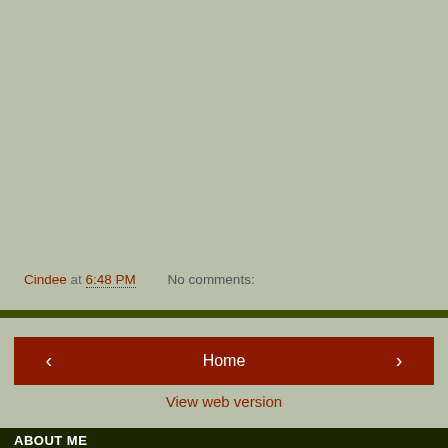Cindee at 6:48 PM    No comments:
[Figure (screenshot): Navigation bar with previous arrow button, Home button, and next arrow button on a sage green background]
View web version
ABOUT ME
Cindee
View my complete profile
Powered by Blogger.